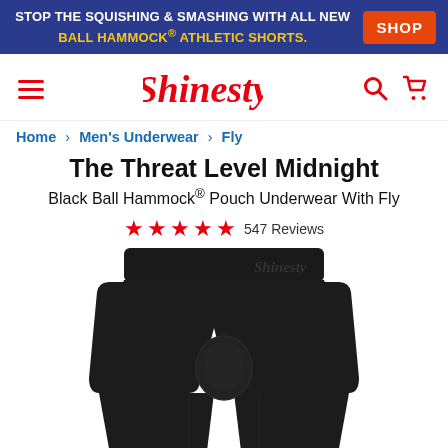STOP THE SQUISHING & SMASHING WITH ALL NEW BALL HAMMOCK® ATHLETIC SHORTS. SHOP
[Figure (logo): Shinesty brand logo with hamburger menu, search and cart icons]
Home > Men's Underwear > Fly
The Threat Level Midnight
Black Ball Hammock® Pouch Underwear With Fly
★★★★★ 547 Reviews
[Figure (photo): Black Ball Hammock pouch underwear boxer briefs with Shinesty logo on waistband, shown on white background]